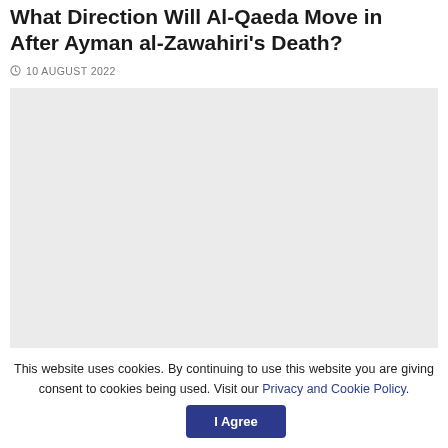What Direction Will Al-Qaeda Move in After Ayman al-Zawahiri's Death?
10 AUGUST 2022
[Figure (photo): Large light gray placeholder image area below the article title and date]
This website uses cookies. By continuing to use this website you are giving consent to cookies being used. Visit our Privacy and Cookie Policy.
I Agree